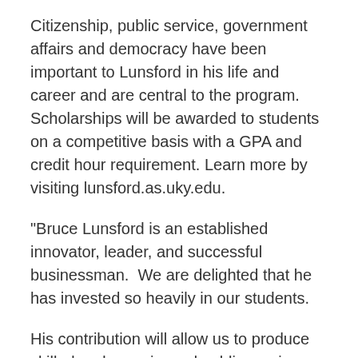Citizenship, public service, government affairs and democracy have been important to Lunsford in his life and career and are central to the program. Scholarships will be awarded to students on a competitive basis with a GPA and credit hour requirement. Learn more by visiting lunsford.as.uky.edu.
"Bruce Lunsford is an established innovator, leader, and successful businessman.  We are delighted that he has invested so heavily in our students.
His contribution will allow us to produce skilled and experienced public service-oriented students who will make positive impacts on the Commonwealth and beyond."
Clayton Thyne,
Department of Political Science professor and chair